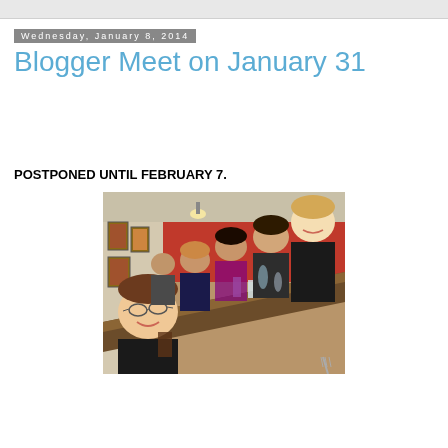Wednesday, January 8, 2014
Blogger Meet on January 31
POSTPONED UNTIL FEBRUARY 7.
[Figure (photo): Group of bloggers seated at a long restaurant table, smiling and socializing. Red walls, framed pictures visible. Indoor restaurant setting.]